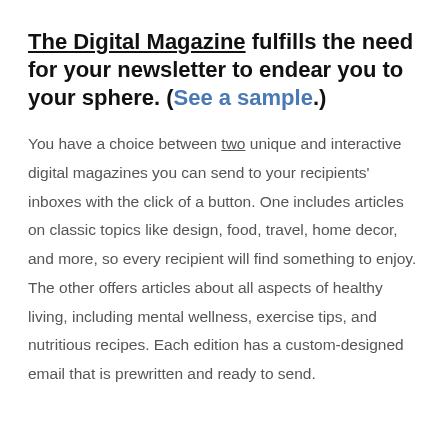The Digital Magazine fulfills the need for your newsletter to endear you to your sphere. (See a sample.)
You have a choice between two unique and interactive digital magazines you can send to your recipients' inboxes with the click of a button. One includes articles on classic topics like design, food, travel, home decor, and more, so every recipient will find something to enjoy. The other offers articles about all aspects of healthy living, including mental wellness, exercise tips, and nutritious recipes. Each edition has a custom-designed email that is prewritten and ready to send.